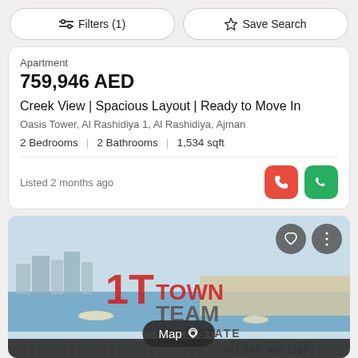[Figure (screenshot): Filter and Save Search buttons at top of search results page]
Apartment
759,946 AED
Creek View | Spacious Layout | Ready to Move In
Oasis Tower, Al Rashidiya 1, Al Rashidiya, Ajman
2 Bedrooms | 2 Bathrooms | 1,534 sqft
Listed 2 months ago
[Figure (photo): Aerial view of waterway and cityscape with Town Team Real Estate logo watermark and Map button overlay]